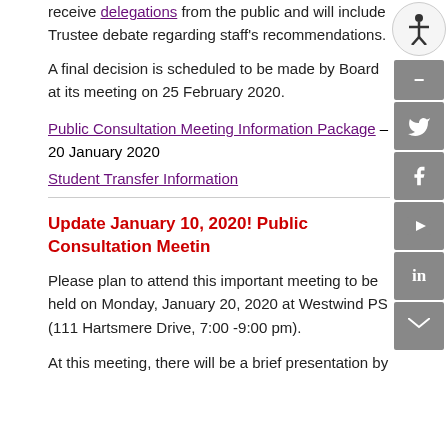receive delegations from the public and will include Trustee debate regarding staff's recommendations.
A final decision is scheduled to be made by Board at its meeting on 25 February 2020.
Public Consultation Meeting Information Package – 20 January 2020
Student Transfer Information
Update January 10, 2020! Public Consultation Meeting
Please plan to attend this important meeting to be held on Monday, January 20, 2020 at Westwind PS (111 Hartsmere Drive, 7:00 -9:00 pm).
At this meeting, there will be a brief presentation by